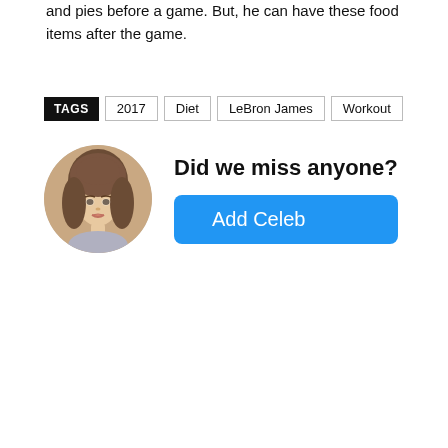and pies before a game. But, he can have these food items after the game.
TAGS  2017  Diet  LeBron James  Workout
[Figure (photo): Circular avatar photo of a young woman with long brown wavy hair]
Did we miss anyone?
Add Celeb